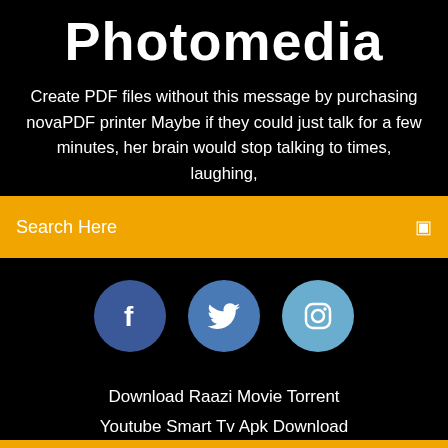Photomedia
Create PDF files without this message by purchasing novaPDF printer Maybe if they could just talk for a few minutes, her brain would stop talking to times, laughing,
Search Here
[Figure (infographic): Three social media icon circles: Facebook (dark blue), Twitter (medium blue), Instagram (light blue)]
Download Raazi Movie Torrent
Youtube Smart Tv Apk Download
Free Download Program Convert Cr2 To Jpg
Samsung Voicemail Asking To Download App